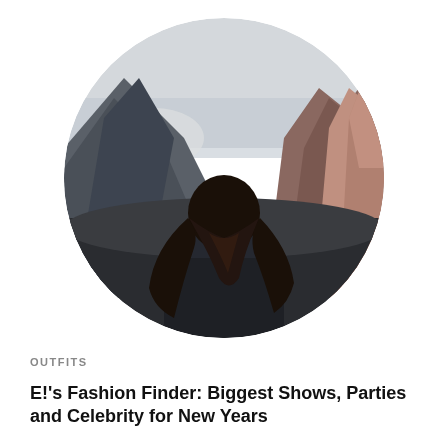[Figure (photo): Circular cropped photo of a woman seen from behind with long wavy brown hair, facing mountain landscape with dramatic rocky peaks and a pale sky]
OUTFITS
E!'s Fashion Finder: Biggest Shows, Parties and Celebrity for New Years